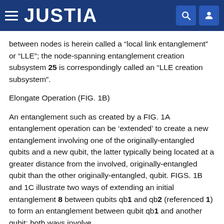JUSTIA
between nodes is herein called a “local link entanglement” or “LLE”; the node-spanning entanglement creation subsystem 25 is correspondingly called an “LLE creation subsystem”.
Elongate Operation (FIG. 1B)
An entanglement such as created by a FIG. 1A entanglement operation can be ‘extended’ to create a new entanglement involving one of the originally-entangled qubits and a new qubit, the latter typically being located at a greater distance from the involved, originally-entangled qubit than the other originally-entangled, qubit. FIGS. 1B and 1C illustrate two ways of extending an initial entanglement 8 between qubits qb1 and qb2 (referenced 1) to form an entanglement between qubit qb1 and another qubit; both ways involve